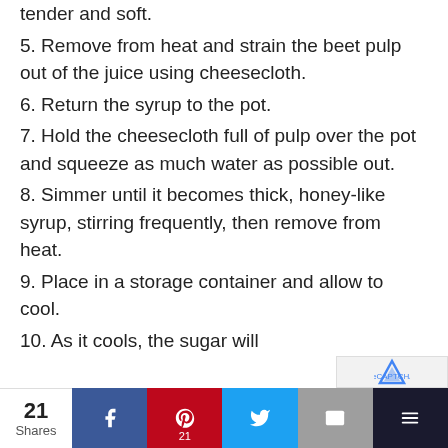tender and soft.
5. Remove from heat and strain the beet pulp out of the juice using cheesecloth.
6. Return the syrup to the pot.
7. Hold the cheesecloth full of pulp over the pot and squeeze as much water as possible out.
8. Simmer until it becomes thick, honey-like syrup, stirring frequently, then remove from heat.
9. Place in a storage container and allow to cool.
10. As it cools, the sugar will
21 Shares | Facebook | Pinterest 21 | Twitter | Email | Extra